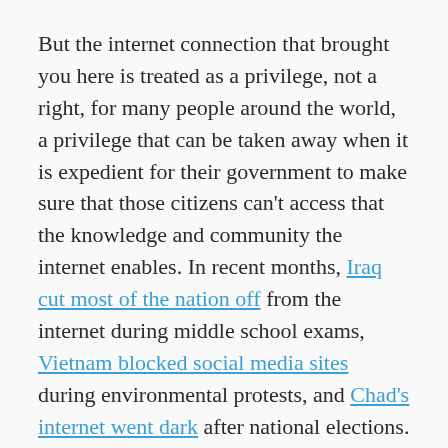But the internet connection that brought you here is treated as a privilege, not a right, for many people around the world, a privilege that can be taken away when it is expedient for their government to make sure that those citizens can't access that the knowledge and community the internet enables. In recent months, Iraq cut most of the nation off from the internet during middle school exams, Vietnam blocked social media sites during environmental protests, and Chad's internet went dark after national elections.
A few weeks ago, a coalition of groups around